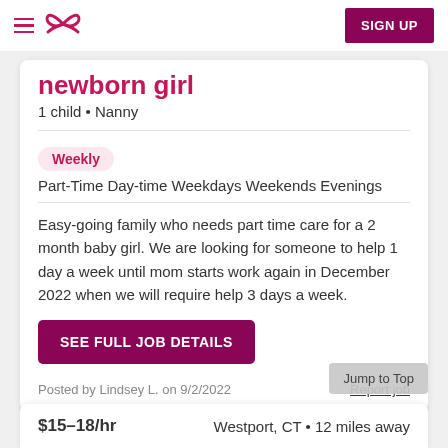SIGN UP
newborn girl
1 child • Nanny
Weekly
Part-Time Day-time Weekdays Weekends Evenings
Easy-going family who needs part time care for a 2 month baby girl. We are looking for someone to help 1 day a week until mom starts work again in December 2022 when we will require help 3 days a week.
SEE FULL JOB DETAILS
Posted by Lindsey L. on 9/2/2022
Report job
$15–18/hr
Westport, CT • 12 miles away
Jump to Top